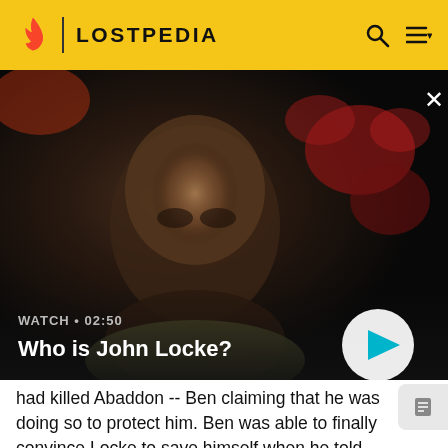LOSTPEDIA
[Figure (screenshot): Video thumbnail showing a bald man looking upward in a dimly lit scene. Label shows WATCH • 02:50, title: Who is John Locke? with a play button.]
had killed Abaddon -- Ben claiming that he was doing so to protect him. Ben was able to finally convince Locke to save himself when he told him Jack bought a plane ticket to Sydney -- that he was not a failure. With new hope, Locke told Ben about Eloise Hawking. Upon hearing this name mentioned, Ben abruptly strangled Locke to death